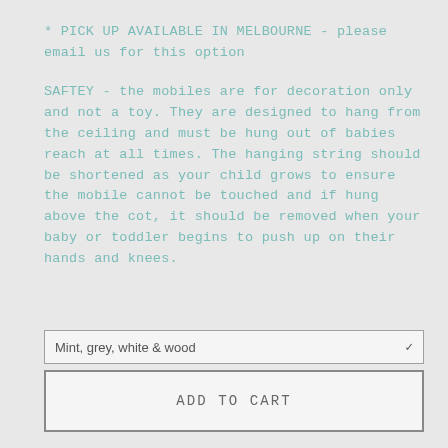* PICK UP AVAILABLE IN MELBOURNE - please email us for this option
SAFTEY - the mobiles are for decoration only and not a toy. They are designed to hang from the ceiling and must be hung out of babies reach at all times. The hanging string should be shortened as your child grows to ensure the mobile cannot be touched and if hung above the cot, it should be removed when your baby or toddler begins to push up on their hands and knees.
Mint, grey, white & wood
ADD TO CART